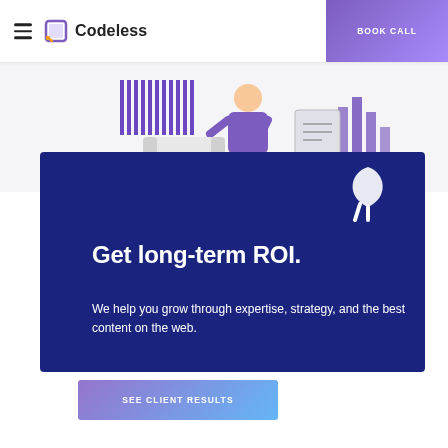Codeless | BOOK CALL
[Figure (illustration): Illustration of a person in purple shirt standing next to a white armchair, with bar charts and document icons in the background. A white leaf/hand icon is visible on the dark blue card.]
Get long-term ROI.
We help you grow through expertise, strategy, and the best content on the web.
SEE CLIENT RESULTS